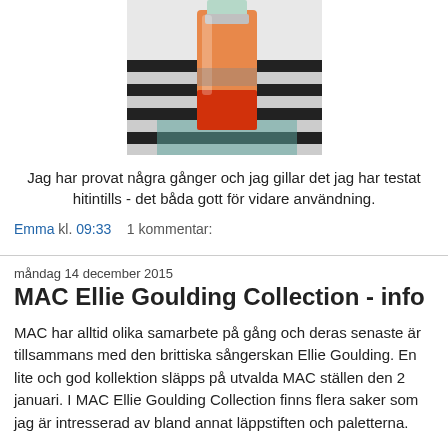[Figure (photo): A bottle of orange/red liquid (likely fragrance or cosmetic product) photographed against a striped black and white background with a teal/blue surface.]
Jag har provat några gånger och jag gillar det jag har testat hitintills - det båda gott för vidare användning.
Emma kl. 09:33    1 kommentar:
måndag 14 december 2015
MAC Ellie Goulding Collection - info
MAC har alltid olika samarbete på gång och deras senaste är tillsammans med den brittiska sångerskan Ellie Goulding. En lite och god kollektion släpps på utvalda MAC ställen den 2 januari. I MAC Ellie Goulding Collection finns flera saker som jag är intresserad av bland annat läppstiften och paletterna.